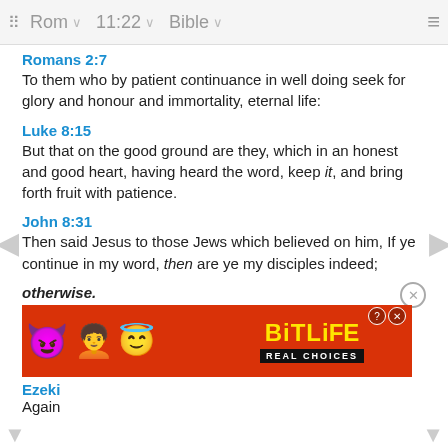⠿  Rom  ∨  11:22  ∨  Bible  ∨  ≡
Romans 2:7
To them who by patient continuance in well doing seek for glory and honour and immortality, eternal life:
Luke 8:15
But that on the good ground are they, which in an honest and good heart, having heard the word, keep it, and bring forth fruit with patience.
John 8:31
Then said Jesus to those Jews which believed on him, If ye continue in my word, then are ye my disciples indeed;
otherwise.
Ezeki
Again
[Figure (screenshot): BitLife - Real Choices advertisement banner with emoji characters on red background]